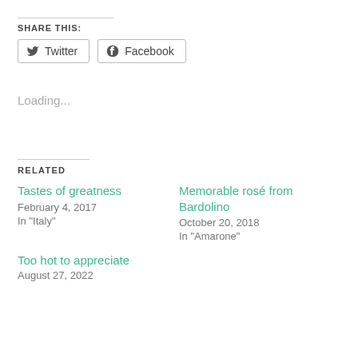SHARE THIS:
Twitter | Facebook
Loading...
RELATED
Tastes of greatness
February 4, 2017
In "Italy"
Memorable rosé from Bardolino
October 20, 2018
In "Amarone"
Too hot to appreciate
August 27, 2022